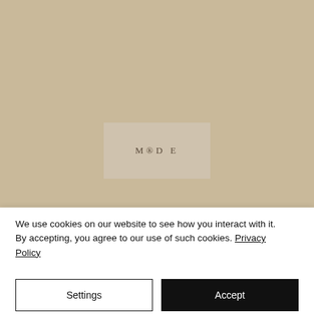[Figure (logo): MODE logo displayed in a semi-transparent beige rectangle centered on a tan/beige background]
We use cookies on our website to see how you interact with it. By accepting, you agree to our use of such cookies. Privacy Policy
Settings
Accept